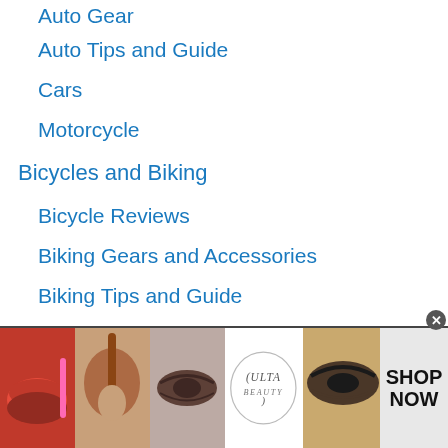Auto Gear
Auto Tips and Guide
Cars
Motorcycle
Bicycles and Biking
Bicycle Reviews
Biking Gears and Accessories
Biking Tips and Guide
Hybrid and Electric Bikes
[Figure (photo): ULTA beauty advertisement banner with cosmetic product imagery including lips with lipstick, makeup brush, eye makeup, ULTA logo, and smoky eye makeup with SHOP NOW call to action]